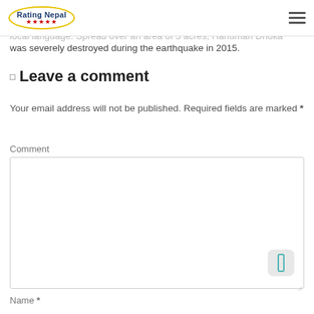Rating Nepal ★★★★★
derived from an antique idol of Lord Hanuman (Monkey God) near the entrance of an ancient palace. 'Dhoka' means door in the local language. Spread over an area of 5 acres, Hanuman Dhoka was severely destroyed during the earthquake in 2015.
Leave a comment
Your email address will not be published. Required fields are marked *
Comment
Name *